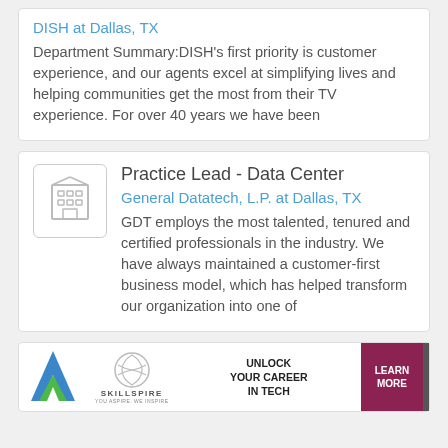DISH at Dallas, TX
Department Summary:DISH's first priority is customer experience, and our agents excel at simplifying lives and helping communities get the most from their TV experience. For over 40 years we have been
Practice Lead - Data Center
General Datatech, L.P. at Dallas, TX
GDT employs the most talented, tenured and certified professionals in the industry. We have always maintained a customer-first business model, which has helped transform our organization into one of
[Figure (advertisement): Skillspire advertisement banner: UNLOCK YOUR CAREER IN TECH with LEARN MORE button]